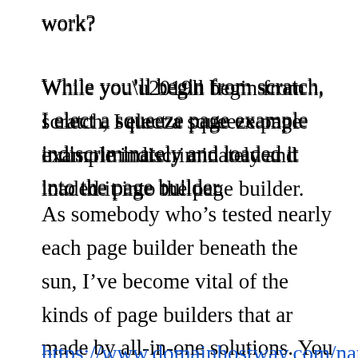work?
While you’ll begin from scratch, I elect a squeeze page example indiscriminately and loaded it into the page builder.
As somebody who’s tested nearly each page builder beneath the sun, I’ve become vital of the kinds of page builders that ar made by all-in-one solutions. You can find more in this post
https://www.domainhostway.com/natalna-